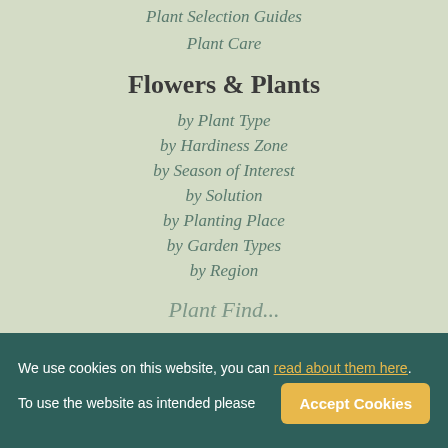Plant Selection Guides
Plant Care
Flowers & Plants
by Plant Type
by Hardiness Zone
by Season of Interest
by Solution
by Planting Place
by Garden Types
by Region
Plant Find...
We use cookies on this website, you can read about them here. To use the website as intended please Accept Cookies